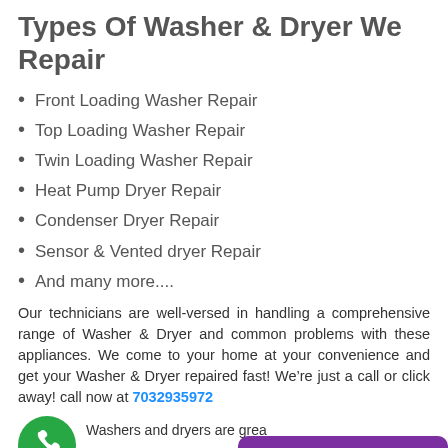Types Of Washer & Dryer We Repair
Front Loading Washer Repair
Top Loading Washer Repair
Twin Loading Washer Repair
Heat Pump Dryer Repair
Condenser Dryer Repair
Sensor & Vented dryer Repair
And many more....
Our technicians are well-versed in handling a comprehensive range of Washer & Dryer and common problems with these appliances. We come to your home at your convenience and get your Washer & Dryer repaired fast! We’re just a call or click away! call now at 7032935972
[Figure (illustration): Green circle phone icon]
Washers and dryers are grea
Offline. Leave a Message.